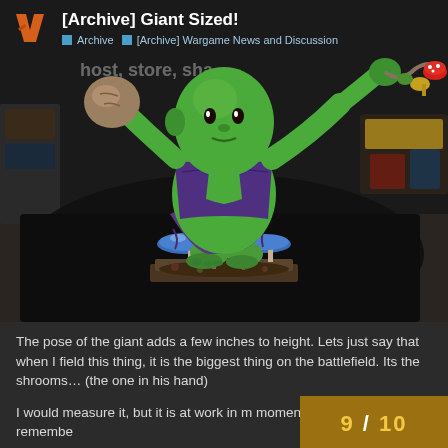[Archive] Giant Sized! | Archive > [Archive] Wargame News and Discussion
[Figure (photo): Painted wargaming miniature of a large green-skinned giant/troll figure leaning forward, wearing purple clothing, holding a mushroom in one hand and a flail/chain in the other, standing on a detailed scenic base with blue mushrooms and foliage. Background shows a hobby workspace.]
The pose of the giant adds a few inches to height. Lets just say that when I field this thing, it is the biggest thing on the battlefield. Its the shrooms… (the one in his hand)
I would measure it, but it is at work in m moment and I'm at home. If I remembe
9 / 10